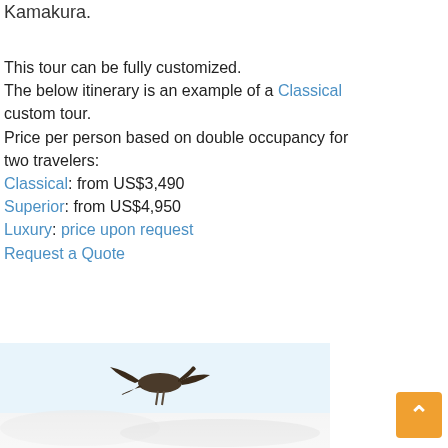Kamakura.
This tour can be fully customized.
The below itinerary is an example of a Classical custom tour.
Price per person based on double occupancy for two travelers:
Classical: from US$3,490
Superior: from US$4,950
Luxury: price upon request
Request a Quote
[Figure (photo): Snowy winter scene with a bird (likely a crane or heron) visible in the foreground against a blurred white/icy background.]